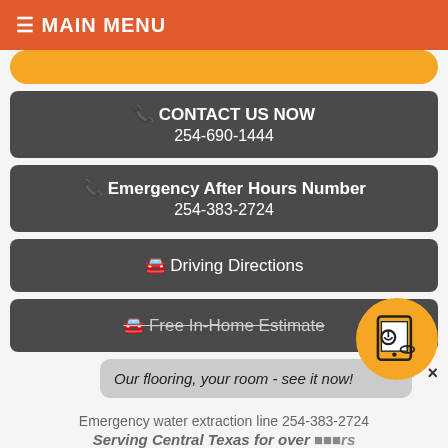≡ MAIN MENU
📞 CONTACT US NOW
254-690-1444
📞 Emergency After Hours Number
254-383-2724
🚗 Driving Directions
🚗 Free In-Home Estimate
Our flooring, your room - see it now!
Emergency water extraction line 254-383-2724
Serving Central Texas for over [years]
MENU
Shop by COLOR